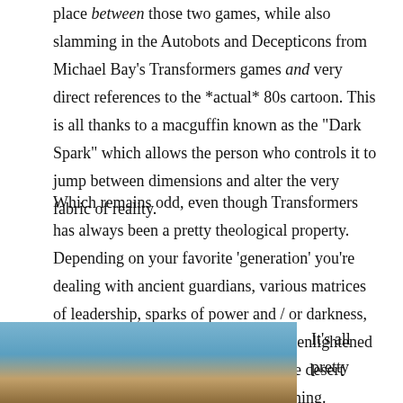place between those two games, while also slamming in the Autobots and Decepticons from Michael Bay's Transformers games and very direct references to the *actual* 80s cartoon. This is all thanks to a macguffin known as the "Dark Spark" which allows the person who controls it to jump between dimensions and alter the very fabric of reality.
Which remains odd, even though Transformers has always been a pretty theological property. Depending on your favorite 'generation' you're dealing with ancient guardians, various matrices of leadership, sparks of power and / or darkness, Energon, something to do with being enlightened as a 'Prime' and lonely monkeys in the desert which is surely a metaphor for something.
[Figure (photo): Partial view of a photo showing what appears to be a desert or arid landscape with a large brown rocky formation against a blue sky. Only the bottom portion of the image is visible.]
It's all pretty